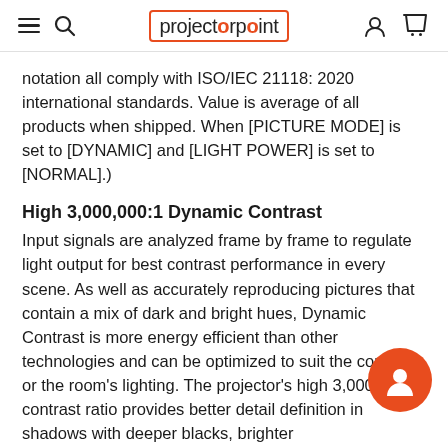projectorpoint
notation all comply with ISO/IEC 21118: 2020 international standards. Value is average of all products when shipped. When [PICTURE MODE] is set to [DYNAMIC] and [LIGHT POWER] is set to [NORMAL].)
High 3,000,000:1 Dynamic Contrast
Input signals are analyzed frame by frame to regulate light output for best contrast performance in every scene. As well as accurately reproducing pictures that contain a mix of dark and bright hues, Dynamic Contrast is more energy efficient than other technologies and can be optimized to suit the content or the room's lighting. The projector's high 3,000,000:1 contrast ratio provides better detail definition in shadows with deeper blacks, brighter